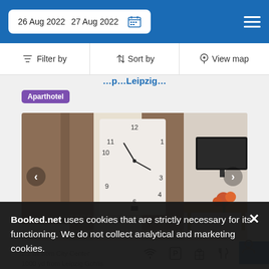26 Aug 2022  27 Aug 2022
Filter by   Sort by   View map
...p...Leipzig...
Aparthotel
[Figure (photo): Hotel room interior with large wall clock, brown curtains, wall-mounted TV, and flower arrangement on a wooden table]
Booked.net uses cookies that are strictly necessary for its functioning. We do not collect analytical and marketing cookies.
2.2 mi from City Center
1000 yd from Leipzig Gohlis